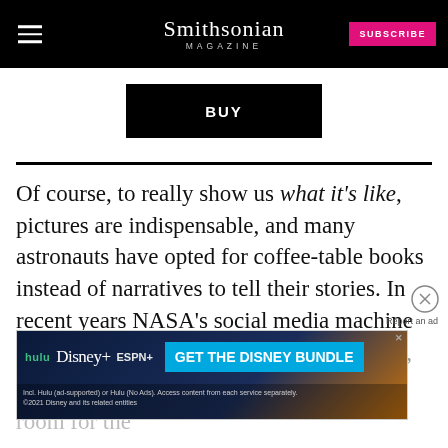Smithsonian MAGAZINE — SUBSCRIBE
[Figure (other): Black BUY button]
Of course, to really show us what it's like, pictures are indispensable, and many astronauts have opted for coffee-table books instead of narratives to tell their stories. In recent years NASA's social media machine has taken to posting the best photos online, where astronauts have amassed millions of followers, but there's still room for the
[Figure (other): Disney Bundle advertisement banner: hulu Disney+ ESPN+ GET THE DISNEY BUNDLE. Incl. Hulu (ad-supported) or Hulu (No Ads). Access content from each service separately. ©2021 Disney and its related entities]